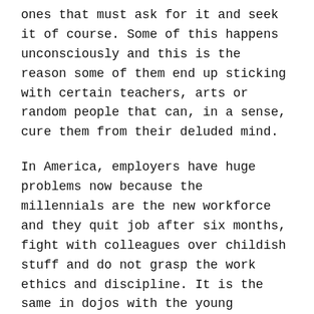ones that must ask for it and seek it of course. Some of this happens unconsciously and this is the reason some of them end up sticking with certain teachers, arts or random people that can, in a sense, cure them from their deluded mind.
In America, employers have huge problems now because the millennials are the new workforce and they quit job after six months, fight with colleagues over childish stuff and do not grasp the work ethics and discipline. It is the same in dojos with the young newcomers.
However, if you think about it, the art with so much history and a strong gravitational pull of tradition and the historical lineage can help them root themselves.